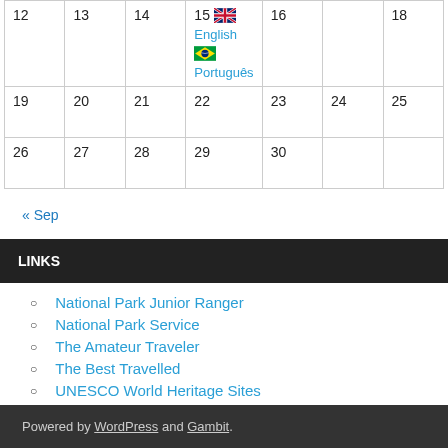| 12 | 13 | 14 | 15 [flag-en] English  [flag-pt] Português | 16 | 18 |
| 19 | 20 | 21 | 22 | 23 | 24 | 25 |
| 26 | 27 | 28 | 29 | 30 |  |  |
« Sep
LINKS
National Park Junior Ranger
National Park Service
The Amateur Traveler
The Best Travelled
UNESCO World Heritage Sites
Powered by WordPress and Gambit.